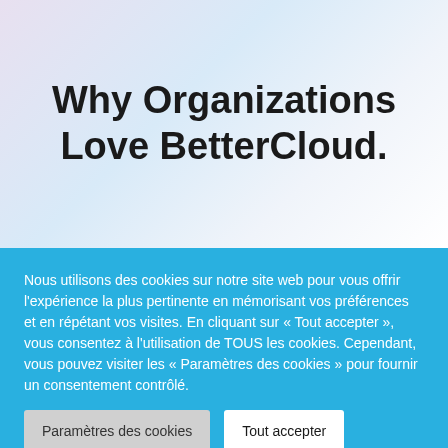Why Organizations Love BetterCloud.
Nous utilisons des cookies sur notre site web pour vous offrir l'expérience la plus pertinente en mémorisant vos préférences et en répétant vos visites. En cliquant sur « Tout accepter », vous consentez à l'utilisation de TOUS les cookies. Cependant, vous pouvez visiter les « Paramètres des cookies » pour fournir un consentement contrôlé.
Paramètres des cookies
Tout accepter